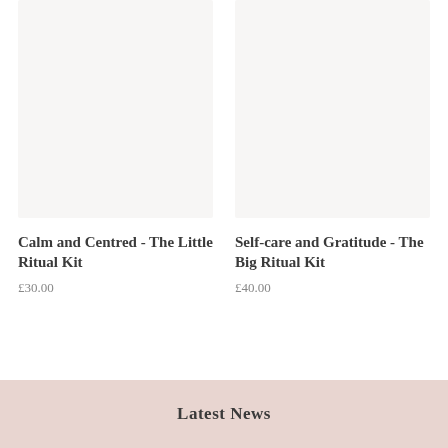[Figure (photo): Product image placeholder for Calm and Centred - The Little Ritual Kit, light beige/grey background]
Calm and Centred - The Little Ritual Kit
£30.00
[Figure (photo): Product image placeholder for Self-care and Gratitude - The Big Ritual Kit, light beige/grey background]
Self-care and Gratitude - The Big Ritual Kit
£40.00
Latest News